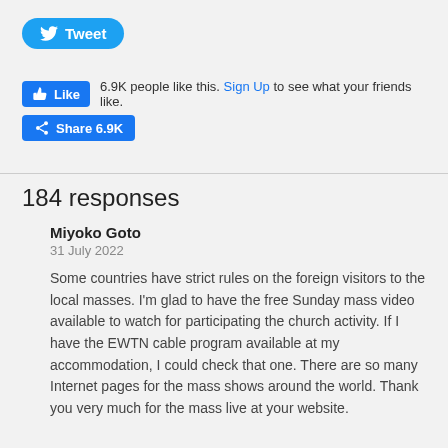[Figure (screenshot): Twitter Tweet button (blue rounded pill button with bird icon and 'Tweet' text)]
[Figure (screenshot): Facebook Like and Share buttons with engagement count: 6.9K people like this. Sign Up to see what your friends like.]
184 responses
Miyoko Goto
31 July 2022
Some countries have strict rules on the foreign visitors to the local masses. I'm glad to have the free Sunday mass video available to watch for participating the church activity. If I have the EWTN cable program available at my accommodation, I could check that one. There are so many Internet pages for the mass shows around the world. Thank you very much for the mass live at your website.